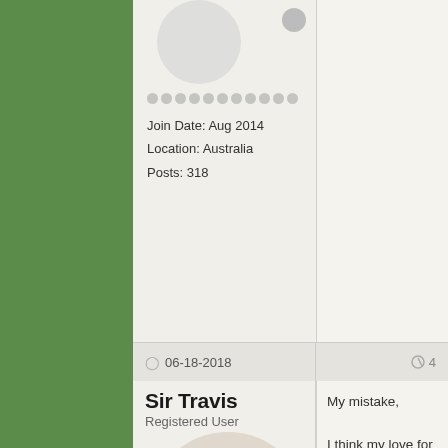Join Date: Aug 2014
Location: Australia
Posts: 318
06-18-2018
4
Sir Travis
Registered User
[Figure (illustration): Circular avatar showing a cartoon character with wings and red hearts, wearing armor]
Join Date: Nov 2014
Location: Canada
My mistake,

I think my love for classic is showing 😄
Last edited by Sir Travis; 06-18-2018 at 10:50 PM. Reason: Thanks for putting this in the right place and the responses